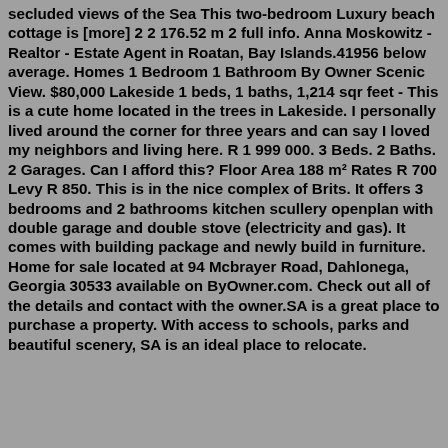secluded views of the Sea This two-bedroom Luxury beach cottage is [more] 2 2 176.52 m 2 full info. Anna Moskowitz - Realtor - Estate Agent in Roatan, Bay Islands.41956 below average. Homes 1 Bedroom 1 Bathroom By Owner Scenic View. $80,000 Lakeside 1 beds, 1 baths, 1,214 sqr feet - This is a cute home located in the trees in Lakeside. I personally lived around the corner for three years and can say I loved my neighbors and living here. R 1 999 000. 3 Beds. 2 Baths. 2 Garages. Can I afford this? Floor Area 188 m² Rates R 700 Levy R 850. This is in the nice complex of Brits. It offers 3 bedrooms and 2 bathrooms kitchen scullery openplan with double garage and double stove (electricity and gas). It comes with building package and newly build in furniture. Home for sale located at 94 Mcbrayer Road, Dahlonega, Georgia 30533 available on ByOwner.com. Check out all of the details and contact with the owner.SA is a great place to purchase a property. With access to schools, parks and beautiful scenery, SA is an ideal place to relocate.